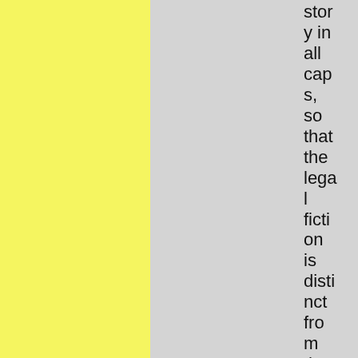story in all caps, so that the legal fiction is distinct from the fiction you have